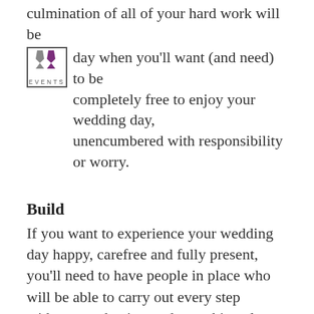culmination of all of your hard work will be day when you'll want (and need) to be completely free to enjoy your wedding day, unencumbered with responsibility or worry.
[Figure (logo): MA Events logo with two tie/figure shapes in purple and grey, with text EVENTS below]
Build
If you want to experience your wedding day happy, carefree and fully present, you'll need to have people in place who will be able to carry out every step without you having to do anything else except enjoy your wedding day. Building a team of trusted allies working with you and for you is your best strategy.
Wedding professionals have lots of experience